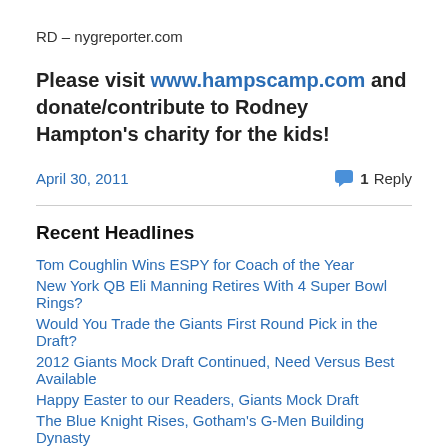RD – nygreporter.com
Please visit www.hampscamp.com and donate/contribute to Rodney Hampton's charity for the kids!
April 30, 2011   1 Reply
Recent Headlines
Tom Coughlin Wins ESPY for Coach of the Year
New York QB Eli Manning Retires With 4 Super Bowl Rings?
Would You Trade the Giants First Round Pick in the Draft?
2012 Giants Mock Draft Continued, Need Versus Best Available
Happy Easter to our Readers, Giants Mock Draft
The Blue Knight Rises, Gotham's G-Men Building Dynasty